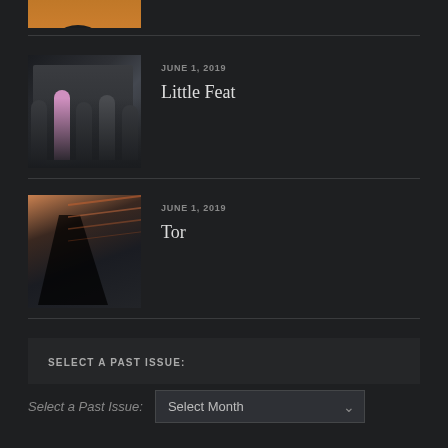[Figure (photo): Partial top of person image cropped at top of page]
JUNE 1, 2019
Little Feat
[Figure (photo): Group photo of band members standing together]
JUNE 1, 2019
Tor
[Figure (photo): Shadow figure silhouette with diagonal lines in background]
SELECT A PAST ISSUE:
Select a Past Issue:
Select Month